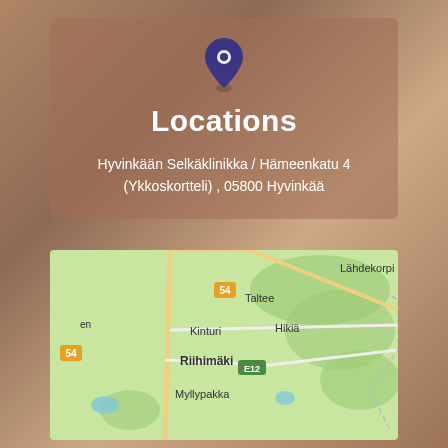Locations
Hyvinkään Selkäklinikka / Hämeenkatu 4 (Ykkoskortteli) , 05800 Hyvinkää
[Figure (map): Street map showing Riihimäki area in Finland with labels: Lähdekorpi, Taltee, Hikiä, Kinturi, Riihimäki, Myllypakka, road markers 54 and E12]